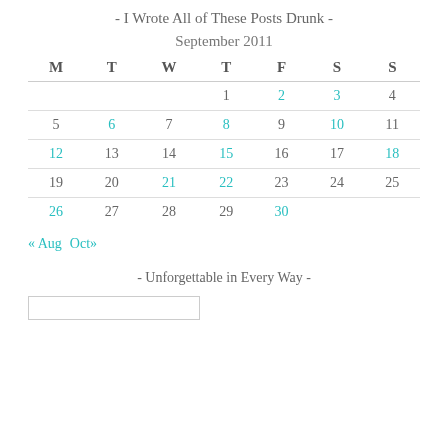- I Wrote All of These Posts Drunk -
| M | T | W | T | F | S | S |
| --- | --- | --- | --- | --- | --- | --- |
|  |  |  | 1 | 2 | 3 | 4 |
| 5 | 6 | 7 | 8 | 9 | 10 | 11 |
| 12 | 13 | 14 | 15 | 16 | 17 | 18 |
| 19 | 20 | 21 | 22 | 23 | 24 | 25 |
| 26 | 27 | 28 | 29 | 30 |  |  |
« Aug  Oct»
- Unforgettable in Every Way -